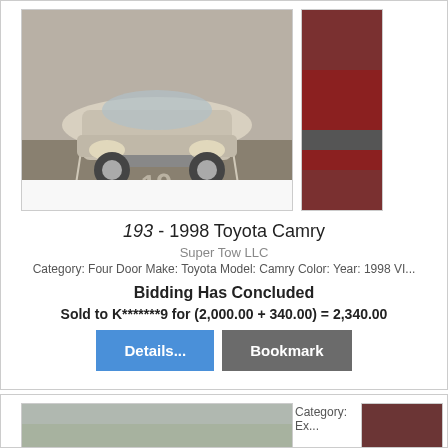[Figure (photo): Photo of a silver 1998 Toyota Camry in a parking lot, viewed from front-left angle]
193 - 1998 Toyota Camry
Super Tow LLC
Category: Four Door Make: Toyota Model: Camry Color: Year: 1998 VI...
Bidding Has Concluded
Sold to K*******9 for (2,000.00 + 340.00) = 2,340.00
[Figure (photo): Photo of a red/maroon car in a parking lot with other vehicles visible]
Category: Ex...